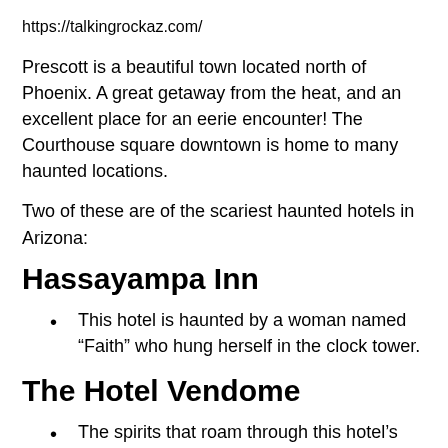https://talkingrockaz.com/
Prescott is a beautiful town located north of Phoenix. A great getaway from the heat, and an excellent place for an eerie encounter! The Courthouse square downtown is home to many haunted locations.
Two of these are of the scariest haunted hotels in Arizona:
Hassayampa Inn
This hotel is haunted by a woman named “Faith” who hung herself in the clock tower.
The Hotel Vendome
The spirits that roam through this hotel’s halls include a human and a cat. It is said to be the